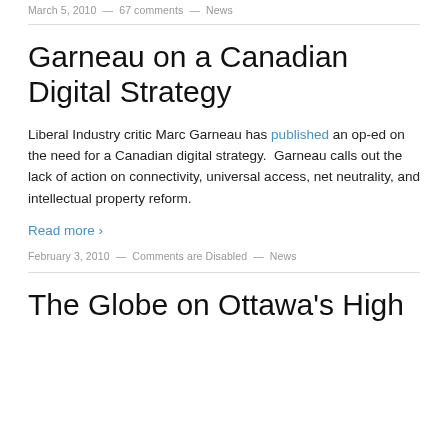March 5, 2010 — 67 comments — News
Garneau on a Canadian Digital Strategy
Liberal Industry critic Marc Garneau has published an op-ed on the need for a Canadian digital strategy. Garneau calls out the lack of action on connectivity, universal access, net neutrality, and intellectual property reform.
Read more ›
February 3, 2010 — Comments are Disabled — News
The Globe on Ottawa's High